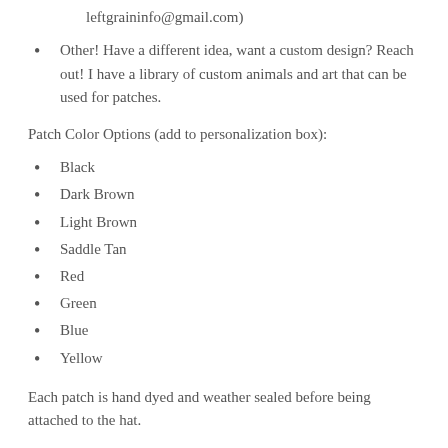leftgraininfo@gmail.com)
Other! Have a different idea, want a custom design? Reach out! I have a library of custom animals and art that can be used for patches.
Patch Color Options (add to personalization box):
Black
Dark Brown
Light Brown
Saddle Tan
Red
Green
Blue
Yellow
Each patch is hand dyed and weather sealed before being attached to the hat.